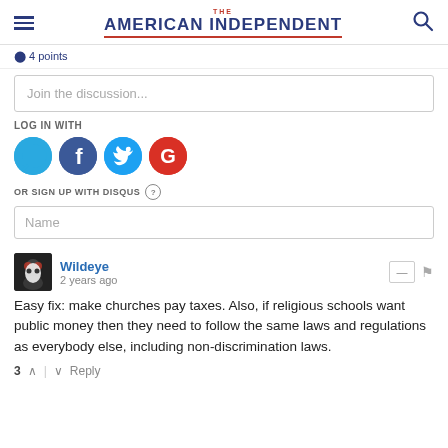THE AMERICAN INDEPENDENT
Join the discussion...
LOG IN WITH
[Figure (infographic): Social login icons: Disqus (D), Facebook (f), Twitter bird, Google (G)]
OR SIGN UP WITH DISQUS ?
Name
Wildeye
2 years ago
Easy fix: make churches pay taxes. Also, if religious schools want public money then they need to follow the same laws and regulations as everybody else, including non-discrimination laws.
3 ∧ | ∨ Reply